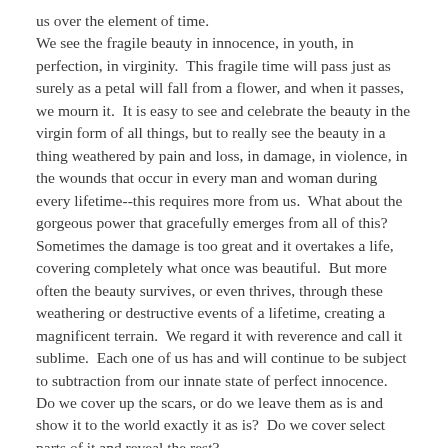us over the element of time.
We see the fragile beauty in innocence, in youth, in perfection, in virginity.  This fragile time will pass just as surely as a petal will fall from a flower, and when it passes, we mourn it.  It is easy to see and celebrate the beauty in the virgin form of all things, but to really see the beauty in a thing weathered by pain and loss, in damage, in violence, in the wounds that occur in every man and woman during every lifetime--this requires more from us.  What about the gorgeous power that gracefully emerges from all of this?  Sometimes the damage is too great and it overtakes a life, covering completely what once was beautiful.  But more often the beauty survives, or even thrives, through these weathering or destructive events of a lifetime, creating a magnificent terrain.  We regard it with reverence and call it sublime.  Each one of us has and will continue to be subject to subtraction from our innate state of perfect innocence.  Do we cover up the scars, or do we leave them as is and show it to the world exactly it as is?  Do we cover select parts of it and reveal the rest?
In the Sojourn paintings, I have done both.  I present the to you virgin beauties like Petals of the Orchid with as much sincerity as I give to you the Terrain paintings.  In the spirit of a life punctuated with a certain small number of catastrophic events, with a specific degree of pain, with